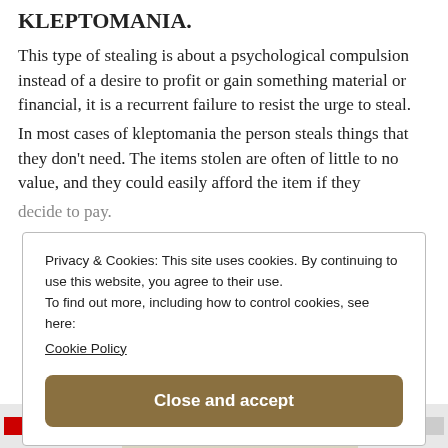KLEPTOMANIA.
This type of stealing is about a psychological compulsion instead of a desire to profit or gain something material or financial, it is a recurrent failure to resist the urge to steal.
In most cases of kleptomania the person steals things that they don't need. The items stolen are often of little to no value, and they could easily afford the item if they decide to pay.
Privacy & Cookies: This site uses cookies. By continuing to use this website, you agree to their use.
To find out more, including how to control cookies, see here: Cookie Policy
[Figure (screenshot): Cookie consent banner with 'Close and accept' button and partially visible illustration strip at bottom]